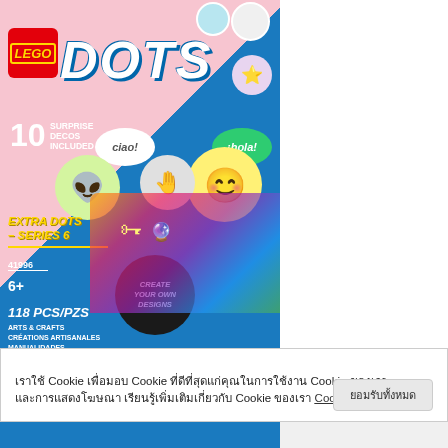[Figure (photo): LEGO DOTS Extra Dots Series 6 product packaging (set 41996). Blue and pink bag showing colorful emoji-style dots/tiles including alien face, smiley face, star, key, teardrop shapes. Text on package: LEGO DOTS, 10 SURPRISE DECOS INCLUDED, EXTRA DOTS - SERIES 6, 41996, 6+, 118 PCS/PZS, ARTS & CRAFTS / CREATIONS ARTISANALES / MANUALIDADES, CREATE YOUR OWN DESIGNS, ciao!, ¡hola!]
เราใช้ Cookie เพื่อมอบ Cookie ที่ดีที่สุดแก่คุณในการใช้งาน Cookie ของเราและการแสดงโฆษณา เรียนรู้เพิ่มเติมเกี่ยวกับ Cookie ของเรา Cookie ตั้งค่า